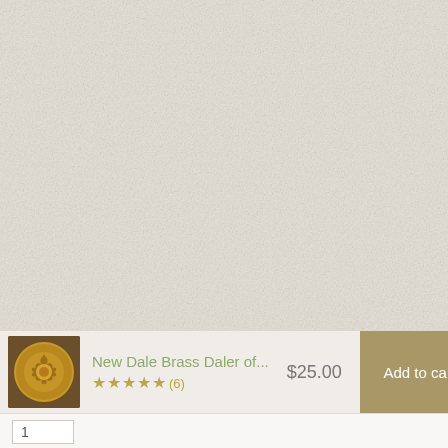[Figure (photo): Cream/beige textured fabric or linen material filling the top portion of the page]
[Figure (photo): Small thumbnail image of a brass coin (New Dale Brass Daler) showing gold/bronze colored medallion with floral design]
New Dale Brass Daler of...
★★★★★(6)
$25.00
Add to cart
1